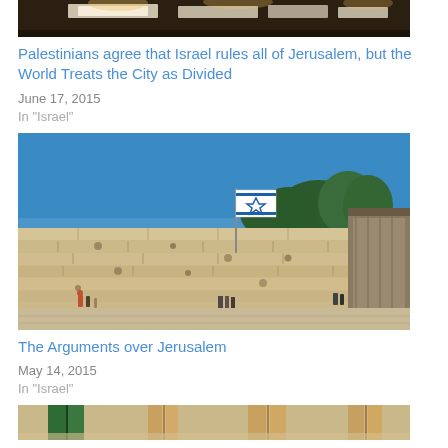[Figure (photo): Partial view of books or documents on a table, top of page (cropped)]
Palestinians agree that Israel rules all of Jerusalem, but the World Treats the City as Divided
June 17, 2015
In "Israel"
[Figure (photo): The Western Wall in Jerusalem with an Israeli flag flying, people standing at the base, blue sky and trees in background]
The Arguments over Jerusalem
May 14, 2015
In "Israel"
[Figure (photo): Partial view of interior with books or panels, bottom of page (cropped)]